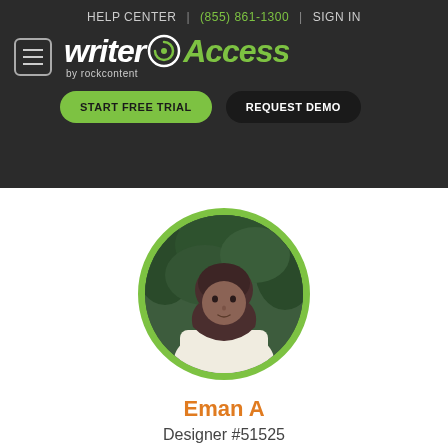HELP CENTER | (855) 861-1300 | SIGN IN
[Figure (logo): WriterAccess by rockcontent logo with hamburger menu icon]
[Figure (other): START FREE TRIAL and REQUEST DEMO buttons]
[Figure (photo): Profile photo of Eman A, a woman wearing a hijab and orange scarf with cream cardigan, circular crop with green border]
Eman A
Designer #51525
Joined 9/25/2020